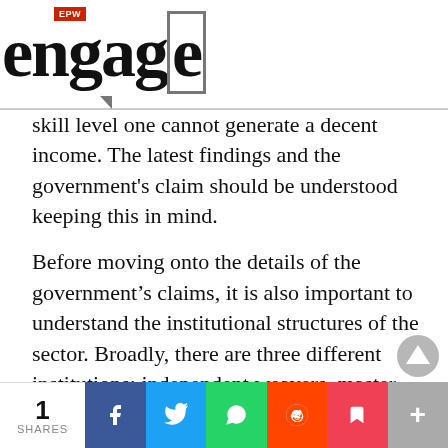EPW engage
skill level one cannot generate a decent income. The latest findings and the government's claim should be understood keeping this in mind.
Before moving onto the details of the government’s claims, it is also important to understand the institutional structures of the sector. Broadly, there are three different institutions: independent weavers, master weavers, and cooperatives. Independent weavers purchase, produce
1 SHARES | Facebook | Twitter | WhatsApp | Reddit | Pocket | More